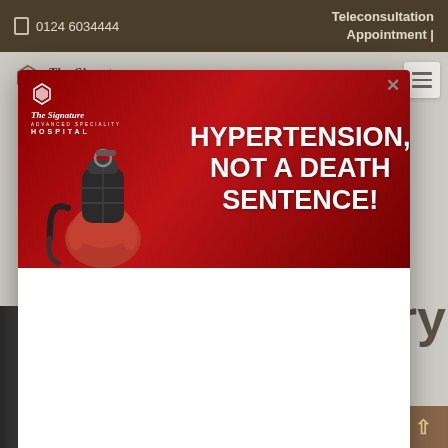0124 6034444   Teleconsultation Appointment |
[Figure (screenshot): Hospital website screenshot showing The Signature Hospital logo and partial page content with navigation hamburger menu]
[Figure (infographic): Red advertisement banner for The Signature Hospital with grenade image and text: HYPERTENSION, NOT A DEATH SENTENCE!]